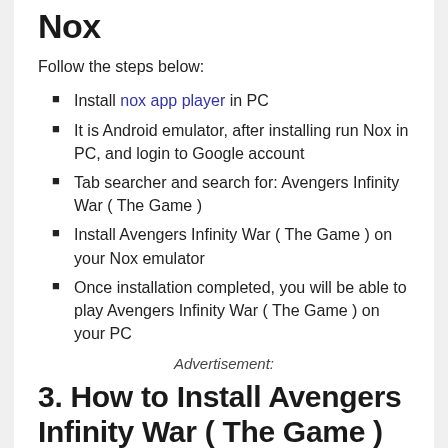Nox
Follow the steps below:
Install nox app player in PC
It is Android emulator, after installing run Nox in PC, and login to Google account
Tab searcher and search for: Avengers Infinity War ( The Game )
Install Avengers Infinity War ( The Game ) on your Nox emulator
Once installation completed, you will be able to play Avengers Infinity War ( The Game ) on your PC
Advertisement:
3. How to Install Avengers Infinity War ( The Game ) in